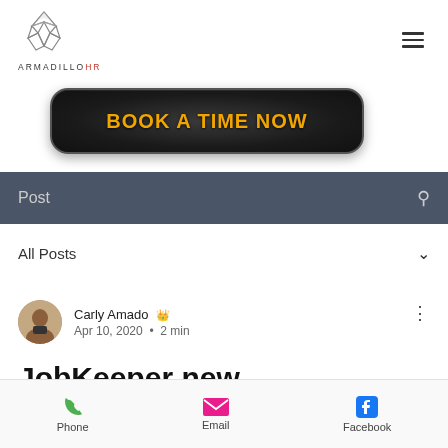[Figure (logo): ArmadilloHR geometric fox logo with text ARMADILLOHR below]
[Figure (other): Hamburger menu icon (three horizontal lines)]
[Figure (other): Dark rounded button with gold text BOOK A TIME NOW]
Post
All Posts
[Figure (photo): Circular avatar photo of Carly Amado]
Carly Amado admin Apr 10, 2020 · 2 min
JobKeeper new Employer Rights
Phone  Email  Facebook